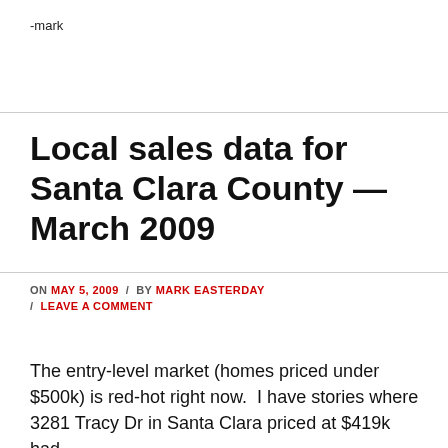-mark
Local sales data for Santa Clara County — March 2009
ON MAY 5, 2009 / BY MARK EASTERDAY / LEAVE A COMMENT
The entry-level market (homes priced under $500k) is red-hot right now.  I have stories where 3281 Tracy Dr in Santa Clara priced at $419k had